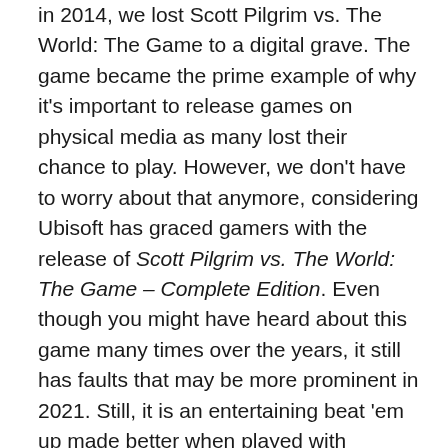in 2014, we lost Scott Pilgrim vs. The World: The Game to a digital grave. The game became the prime example of why it's important to release games on physical media as many lost their chance to play. However, we don't have to worry about that anymore, considering Ubisoft has graced gamers with the release of Scott Pilgrim vs. The World: The Game – Complete Edition. Even though you might have heard about this game many times over the years, it still has faults that may be more prominent in 2021. Still, it is an entertaining beat 'em up made better when played with friends.